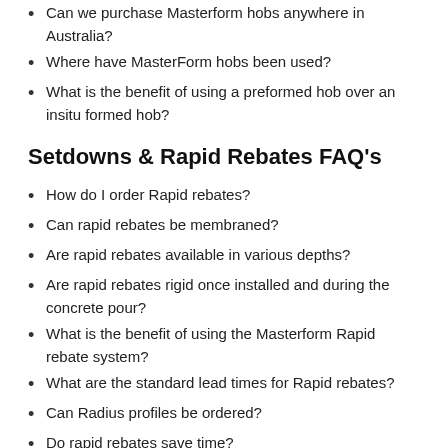Can we purchase Masterform hobs anywhere in Australia?
Where have MasterForm hobs been used?
What is the benefit of using a preformed hob over an insitu formed hob?
Setdowns & Rapid Rebates FAQ's
How do I order Rapid rebates?
Can rapid rebates be membraned?
Are rapid rebates available in various depths?
Are rapid rebates rigid once installed and during the concrete pour?
What is the benefit of using the Masterform Rapid rebate system?
What are the standard lead times for Rapid rebates?
Can Radius profiles be ordered?
Do rapid rebates save time?
Do rapid rebates improve Quality?
Safety Panels And Plinths FAQ's